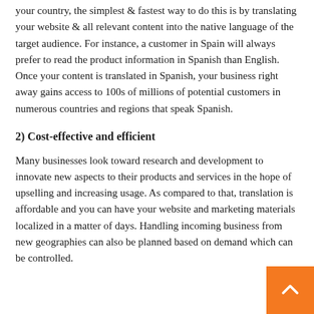your country, the simplest & fastest way to do this is by translating your website & all relevant content into the native language of the target audience. For instance, a customer in Spain will always prefer to read the product information in Spanish than English. Once your content is translated in Spanish, your business right away gains access to 100s of millions of potential customers in numerous countries and regions that speak Spanish.
2) Cost-effective and efficient
Many businesses look toward research and development to innovate new aspects to their products and services in the hope of upselling and increasing usage. As compared to that, translation is affordable and you can have your website and marketing materials localized in a matter of days. Handling incoming business from new geographies can also be planned based on demand which can be controlled.